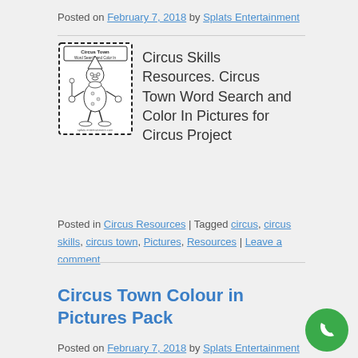Posted on February 7, 2018 by Splats Entertainment
[Figure (illustration): Circus Town Word Search and Color In book cover with a clown illustration]
Circus Skills Resources. Circus Town Word Search and Color In Pictures for Circus Project
Posted in Circus Resources | Tagged circus, circus skills, circus town, Pictures, Resources | Leave a comment
Circus Town Colour in Pictures Pack
Posted on February 7, 2018 by Splats Entertainment